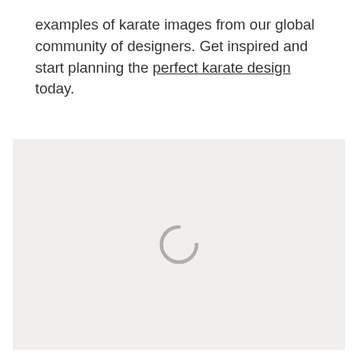examples of karate images from our global community of designers. Get inspired and start planning the perfect karate design today.
[Figure (screenshot): A light gray loading placeholder area with a spinning loading indicator (gray arc/circle) centered in the box, indicating content is being loaded.]